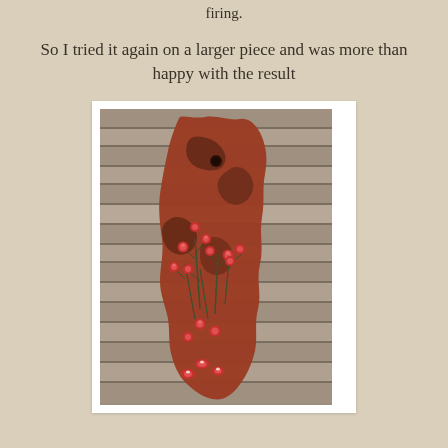firing.
So I tried it again on a larger piece and was more than happy with the result
[Figure (photo): A ceramic pottery piece with reddish-brown glaze and small raised red floral/bud decorations on thin stems, photographed against a weathered wooden plank background.]